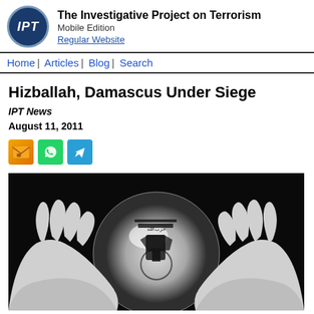The Investigative Project on Terrorism — Mobile Edition — Regular Website
Hizballah, Damascus Under Siege
IPT News
August 11, 2011
[Figure (photo): Black and white photograph of hands holding a glowing orb/crystal ball displaying the Hizballah logo with Arabic text and a fist holding a rifle]